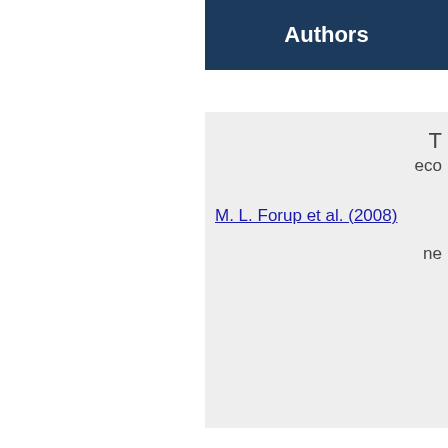Authors
T
eco
M. L. Forup et al. (2008)
ne
T
eco
M. L. Forup et al. (2008)
ne